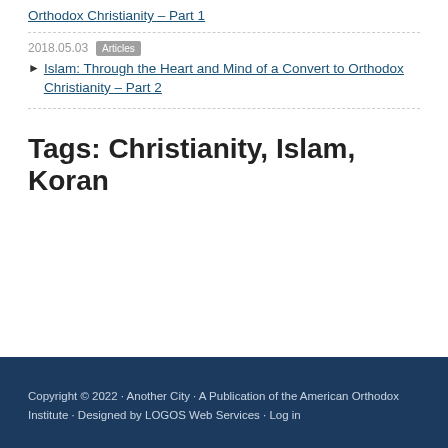Orthodox Christianity – Part 1
2018.05.03 Articles
Islam: Through the Heart and Mind of a Convert to Orthodox Christianity – Part 2
Tags: Christianity, Islam, Koran
Copyright © 2022 · Another City · A Publication of the American Orthodox Institute · Designed by LOGOS Web Services · Log in